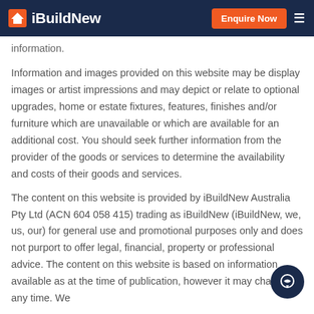iBuildNew — Enquire Now
information.
Information and images provided on this website may be display images or artist impressions and may depict or relate to optional upgrades, home or estate fixtures, features, finishes and/or furniture which are unavailable or which are available for an additional cost. You should seek further information from the provider of the goods or services to determine the availability and costs of their goods and services.
The content on this website is provided by iBuildNew Australia Pty Ltd (ACN 604 058 415) trading as iBuildNew (iBuildNew, we, us, our) for general use and promotional purposes only and does not purport to offer legal, financial, property or professional advice. The content on this website is based on information available as at the time of publication, however it may change at any time. We